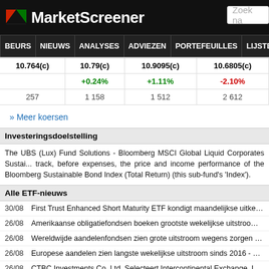[Figure (logo): MarketScreener logo with red/green arrow icon on black background]
BEURS NIEUWS ANALYSES ADVIEZEN PORTEFEUILLES LIJSTENS
| 10.764(c) | 10.79(c) | 10.9095(c) | 10.6805(c) |
|  | +0.24% | +1.11% | -2.10% |
| 257 | 1 158 | 1 512 | 2 612 |
» Meer koersen
Investeringsdoelstelling
The UBS (Lux) Fund Solutions - Bloomberg MSCI Global Liquid Corporates Sustai... track, before expenses, the price and income performance of the Bloomberg Sustainable Bond Index (Total Return) (this sub-fund's 'Index').
Alle ETF-nieuws
30/08  First Trust Enhanced Short Maturity ETF kondigt maandelijkse uitkering aa...
26/08  Amerikaanse obligatiefondsen boeken grootste wekelijkse uitstroom in ach...
26/08  Wereldwijde aandelenfondsen zien grote uitstroom wegens zorgen over ve...
26/08  Europese aandelen zien langste wekelijkse uitstroom sinds 2016 - BofA
26/08  CTBC Investments Co, Ltd. Selecteert Intercontinental Exchange, Inc. Fac...